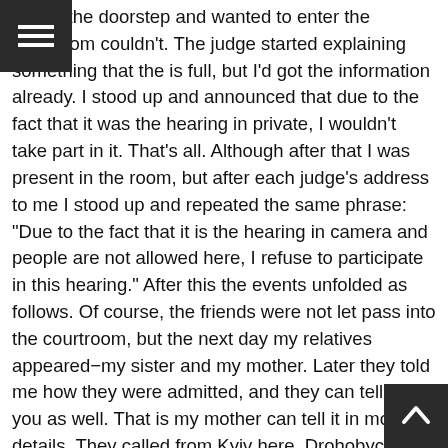ing on the doorstep and wanted to enter the courtroom couldn't. The judge started explaining something that the is full, but I'd got the information already. I stood up and announced that due to the fact that it was the hearing in private, I wouldn't take part in it. That's all. Although after that I was present in the room, but after each judge's address to me I stood up and repeated the same phrase: “Due to the fact that it is the hearing in camera and people are not allowed here, I refuse to participate in this hearing.” After this the events unfolded as follows. Of course, the friends were not let pass into the courtroom, but the next day my relatives appeared−my sister and my mother. Later they told me how they were admitted, and they can tell it to you as well. That is my mother can tell it in more details. They called from Kyiv here, Drohobych, saying: your son and brother are under trial now, you get ready and we will give you a lift to the train and you’ll go. Everything was done very quickly, so that by the next morning they were in the courtroom. And as I continued to refuse to answer questions, they expressed their indignation: “Why do yo refuse? Look, there are also your relatives.” I said: “Yes those two people are my relatives, but why you do not a